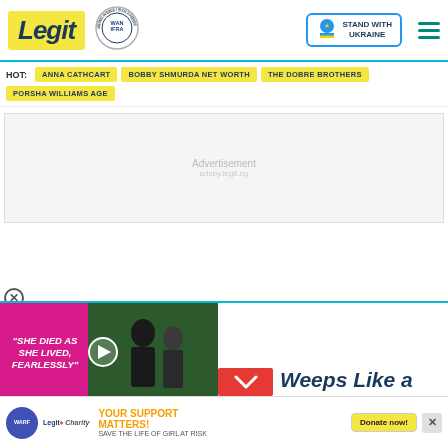Legit - Best News Website in Africa 2021 (WAN IFRA) | Stand with Ukraine
HOT: ANNA CATHCART | BOBBY SHMURDA NET WORTH | THE DOBRE BROTHERS | PORSHA WILLIAMS AGE
Advertisement
[Figure (screenshot): Video thumbnail showing a man in a suit and a woman in black lace dress against a green hedge. Pink overlay on left reads SHE DIED AS SHE LIVED, FEARLESSLY in white italic text. Play button in center.]
Weeps Like a
YOUR SUPPORT MATTERS! SAVE THE LIFE OF GIRL AT RISK